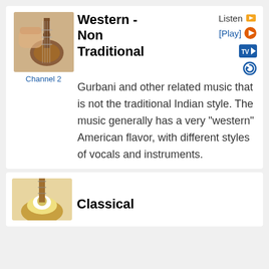[Figure (photo): Person playing an acoustic guitar, thumbnail image]
Western - Non Traditional
Listen
[Play]
Channel 2
Gurbani and other related music that is not the traditional Indian style. The music generally has a very "western" American flavor, with different styles of vocals and instruments.
[Figure (photo): Close-up of a musical instrument, thumbnail image]
Classical